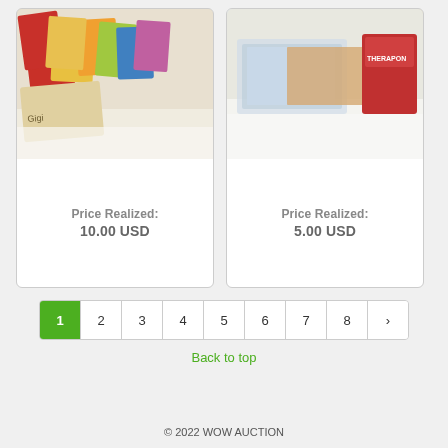[Figure (photo): Photo of various colorful books, records, or cards laid out on a white surface]
Price Realized:
10.00 USD
[Figure (photo): Photo of a card holder or business card display with a red box labeled THERAPON in the background]
Price Realized:
5.00 USD
1 2 3 4 5 6 7 8 ›
Back to top
© 2022 WOW AUCTION